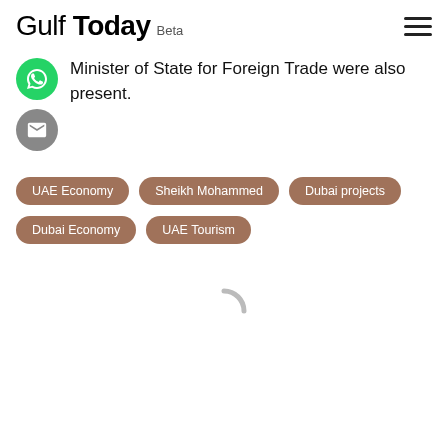Gulf Today Beta
Minister of State for Foreign Trade were also present.
UAE Economy
Sheikh Mohammed
Dubai projects
Dubai Economy
UAE Tourism
[Figure (other): Loading spinner arc graphic]